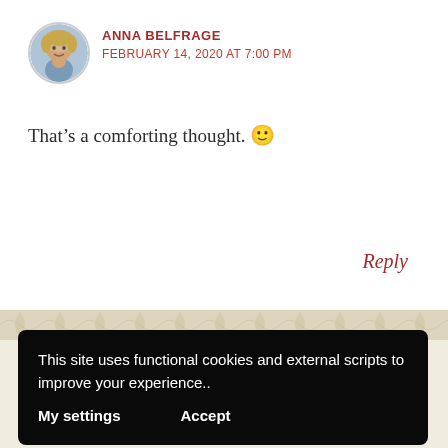[Figure (photo): Circular avatar photo of Anna Belfrage, a woman with blonde hair]
ANNA BELFRAGE
FEBRUARY 14, 2020 AT 7:00 PM
That’s a comforting thought. 🙂
Reply
This site uses functional cookies and external scripts to improve your experience..
My settings
Accept